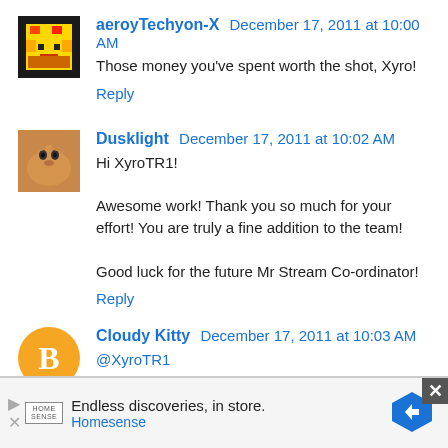aeroyTechyon-X December 17, 2011 at 10:00 AM
Those money you've spent worth the shot, Xyro!
Reply
Dusklight December 17, 2011 at 10:02 AM
Hi XyroTR1!

Awesome work! Thank you so much for your effort! You are truly a fine addition to the team!

Good luck for the future Mr Stream Co-ordinator!
Reply
Cloudy Kitty December 17, 2011 at 10:03 AM
@XyroTR1
That was a fun topic!
[Figure (other): Advertisement banner for Homesense: 'Endless discoveries, in store.' with Homesense logo and navigation arrow icon]